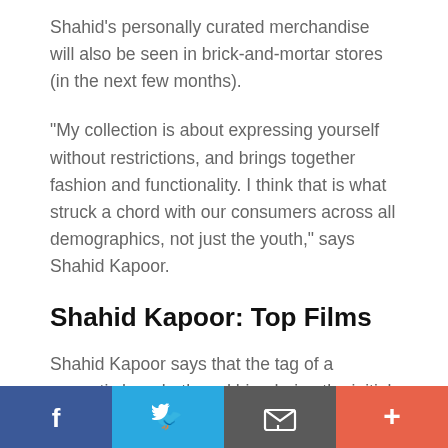Shahid's personally curated merchandise will also be seen in brick-and-mortar stores (in the next few months).
“My collection is about expressing yourself without restrictions, and brings together fashion and functionality. I think that is what struck a chord with our consumers across all demographics, not just the youth,” says Shahid Kapoor.
Shahid Kapoor: Top Films
Shahid Kapoor says that the tag of a romantic hero bothered him during the initial phase of his
Facebook | Twitter | Email | Plus